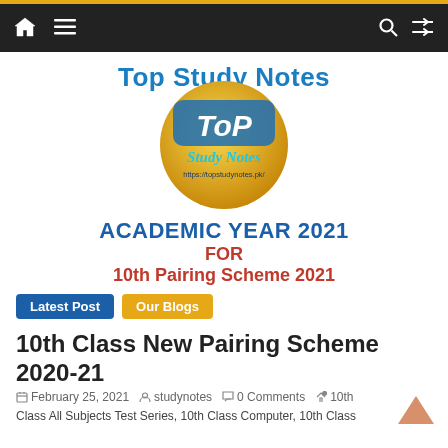Top Study Notes — navigation bar with home, menu, search, and random icons
Top Study Notes
[Figure (logo): Top Study Notes circular logo with gold background, 'ToP' in white stylized font, 'Study Notes' in cyan italic script, and URL https://topstudynotes.pk/]
ACADEMIC YEAR 2021
FOR
10th Pairing Scheme 2021
Latest Post  Our Blogs
10th Class New Pairing Scheme 2020-21
February 25, 2021  studynotes  0 Comments  10th Class All Subjects Test Series, 10th Class Computer, 10th Class